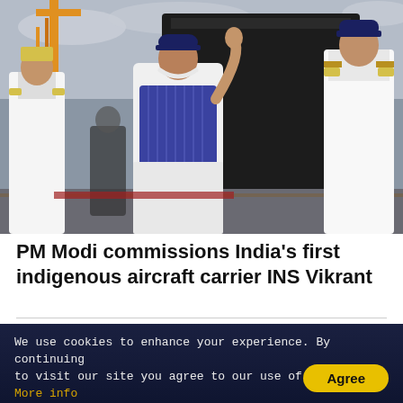[Figure (photo): PM Modi wearing a navy blue vest and cap, waving his right hand, standing between two naval officers in white uniforms with gold epaulettes, at a shipyard with cranes and a large dark naval vessel hull in the background, overcast sky.]
PM Modi commissions India's first indigenous aircraft carrier INS Vikrant
Comments
We use cookies to enhance your experience. By continuing to visit our site you agree to our use of cookies. More info